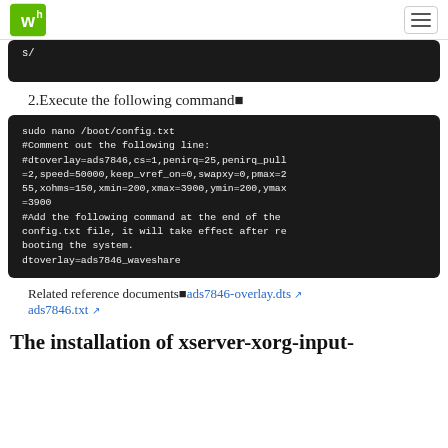Waveshare logo and navigation
[Figure (screenshot): Code block showing: s/]
2.Execute the following command■
[Figure (screenshot): Code block: sudo nano /boot/config.txt
#Comment out the following line:
#dtoverlay=ads7846,cs=1,penirq=25,penirq_pull=2,speed=50000,keep_vref_on=0,swapxy=0,pmax=255,xohms=150,xmin=200,xmax=3900,ymin=200,ymax=3900
#Add the following command at the end of the config.txt file, it will take effect after rebooting the system.
dtoverlay=ads7846_waveshare]
Related reference documents■ads7846-overlay.dts ↗ ads7846.txt ↗
The installation of xserver-xorg-input-